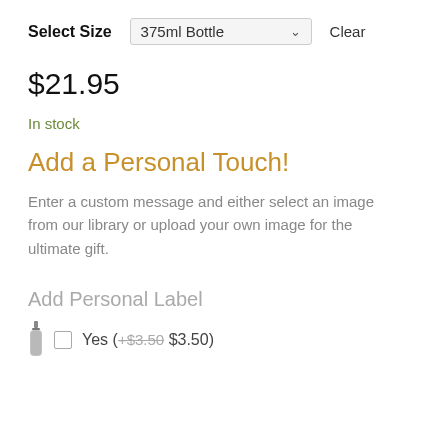Select Size | 375ml Bottle | Clear
$21.95
In stock
Add a Personal Touch!
Enter a custom message and either select an image from our library or upload your own image for the ultimate gift.
Add Personal Label
Yes (+$3.50 $3.50)